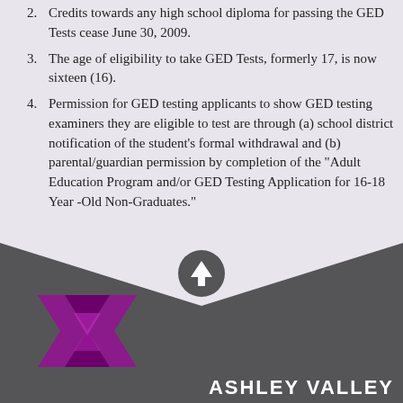2. Credits towards any high school diploma for passing the GED Tests cease June 30, 2009.
3. The age of eligibility to take GED Tests, formerly 17, is now sixteen (16).
4. Permission for GED testing applicants to show GED testing examiners they are eligible to test are through (a) school district notification of the student's formal withdrawal and (b) parental/guardian permission by completion of the "Adult Education Program and/or GED Testing Application for 16-18 Year -Old Non-Graduates."
[Figure (logo): Ashley Valley logo: purple/magenta stylized X or cross shape, with 'ASHLEY VALLEY' text in white to the right, on dark gray background]